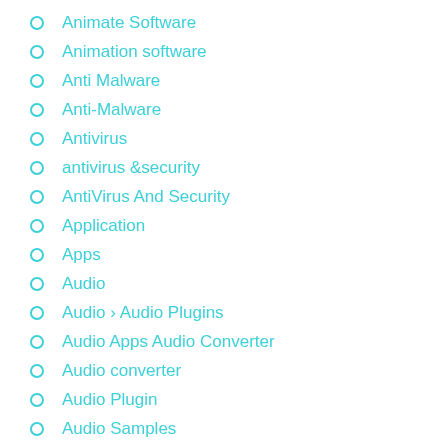Animate Software
Animation software
Anti Malware
Anti-Malware
Antivirus
antivirus &security
AntiVirus And Security
Application
Apps
Audio
Audio › Audio Plugins
Audio Apps Audio Converter
Audio converter
Audio Plugin
Audio Samples